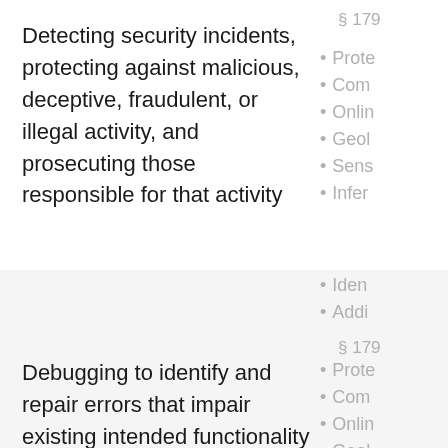Detecting security incidents, protecting against malicious, deceptive, fraudulent, or illegal activity, and prosecuting those responsible for that activity
§ 179
Prote
Comp
Onlin
Geol
Sens
Infer
Iden
Addi
§ 179
Prote
Comp
Onlin
Geol
Sens
Debugging to identify and repair errors that impair existing intended functionality